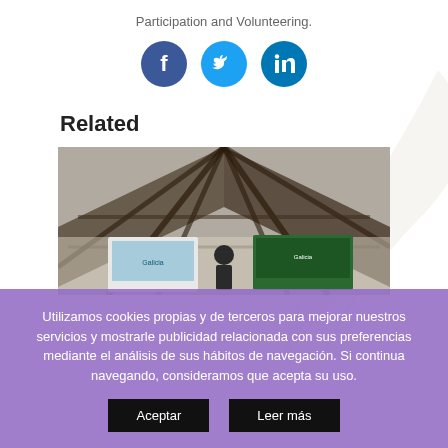Participation and Volunteering.
[Figure (other): Three social media icons: Facebook (dark blue circle), Twitter (light blue circle), LinkedIn (blue circle)]
Related
[Figure (photo): Indoor event or conference space with triangular roof beams and large display screens, a person standing at a podium with Galicia branding banners]
Utilizamos cookies propias y de terceros para mejorar nuestros servicios y mostrarle publicidad relacionada con sus preferencias mediante el análisis de sus hábitos de navegación. Si continua navegando, consideramos que acepta su uso.
Aceptar
Leer más